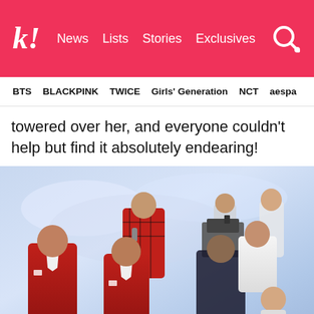k! News Lists Stories Exclusives
BTS BLACKPINK TWICE Girls' Generation NCT aespa
towered over her, and everyone couldn't help but find it absolutely endearing!
[Figure (photo): K-pop performers on stage at a music show. Several male artists in red and white suits in the foreground, one performer in a red plaid sweater singing into a microphone in the middle, other performers in white outfits on the right, with a blue dreamy backdrop and a camera operator visible.]